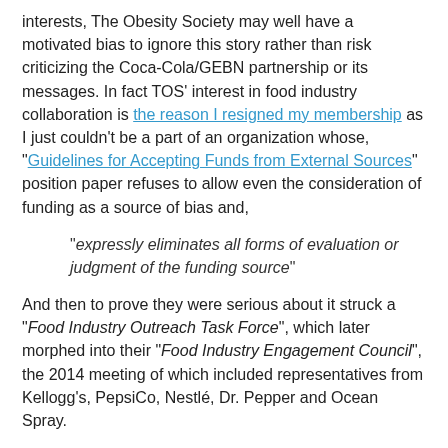interests, The Obesity Society may well have a motivated bias to ignore this story rather than risk criticizing the Coca-Cola/GEBN partnership or its messages. In fact TOS' interest in food industry collaboration is the reason I resigned my membership as I just couldn't be a part of an organization whose, "Guidelines for Accepting Funds from External Sources" position paper refuses to allow even the consideration of funding as a source of bias and,
"expressly eliminates all forms of evaluation or judgment of the funding source"
And then to prove they were serious about it struck a "Food Industry Outreach Task Force", which later morphed into their "Food Industry Engagement Council", the 2014 meeting of which included representatives from Kellogg's, PepsiCo, Nestlé, Dr. Pepper and Ocean Spray.
Friendships may also have a role to play in the silence here - friendships between TOS' leadership and the scientists headlining GEBN (one of who is a TOS past president), as well as friendships between TOS' leadership and Coca-